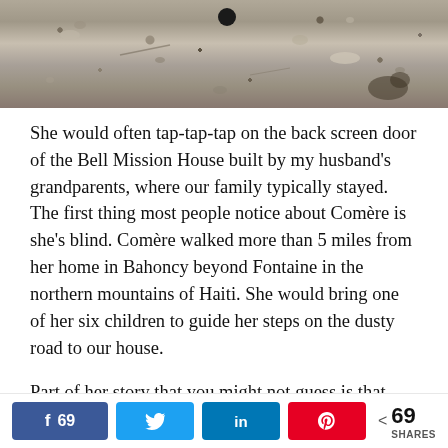[Figure (photo): Close-up photograph of a dusty rocky dirt road surface with gravel and small stones, with a dark round object (possibly a bottle cap) visible near the top center.]
She would often tap-tap-tap on the back screen door of the Bell Mission House built by my husband's grandparents, where our family typically stayed. The first thing most people notice about Comère is she's blind. Comère walked more than 5 miles from her home in Bahoncy beyond Fontaine in the northern mountains of Haiti. She would bring one of her six children to guide her steps on the dusty road to our house.
Part of her story that you might not guess is that Comère is a widow. Her husband died 9 years ago because of
69  69 SHARES